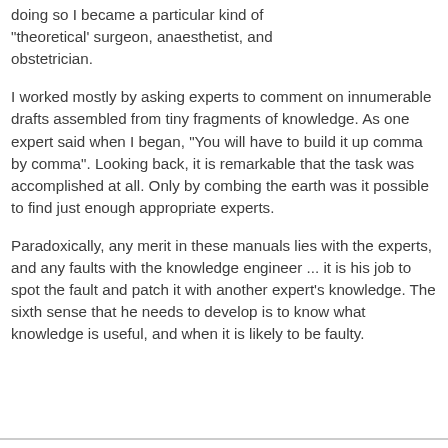doing so I became a particular kind of "theoretical' surgeon, anaesthetist, and obstetrician.
I worked mostly by asking experts to comment on innumerable drafts assembled from tiny fragments of knowledge. As one expert said when I began, "You will have to build it up comma by comma". Looking back, it is remarkable that the task was accomplished at all. Only by combing the earth was it possible to find just enough appropriate experts.
Paradoxically, any merit in these manuals lies with the experts, and any faults with the knowledge engineer ... it is his job to spot the fault and patch it with another expert's knowledge. The sixth sense that he needs to develop is to know what knowledge is useful, and when it is likely to be faulty.